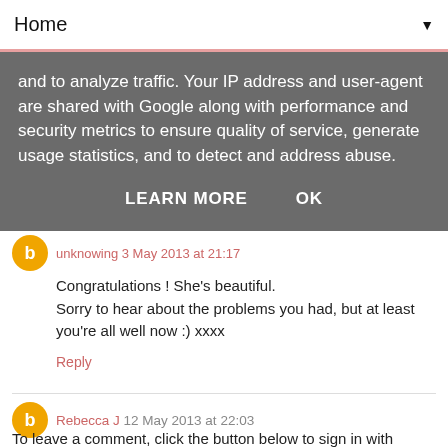Home ▼
and to analyze traffic. Your IP address and user-agent are shared with Google along with performance and security metrics to ensure quality of service, generate usage statistics, and to detect and address abuse.
LEARN MORE   OK
Congratulations ! She's beautiful.
Sorry to hear about the problems you had, but at least you're all well now :) xxxx
Reply
Rebecca J  12 May 2013 at 22:03
I love reading birth stories. Must have been so scary at the time. Beautiful photos xx
Reply
To leave a comment, click the button below to sign in with